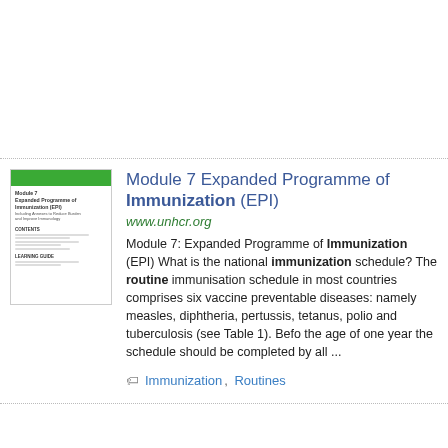[Figure (illustration): Thumbnail image of document cover: Module 7 Expanded Programme of Immunization (EPI), with green header bar and table of contents]
Module 7 Expanded Programme of Immunization (EPI)
www.unhcr.org
Module 7: Expanded Programme of Immunization (EPI) What is the national immunization schedule? The routine immunisation schedule in most countries comprises six vaccine preventable diseases: namely measles, diphtheria, pertussis, tetanus, polio and tuberculosis (see Table 1). Before the age of one year the schedule should be completed by all ...
Immunization, Routines